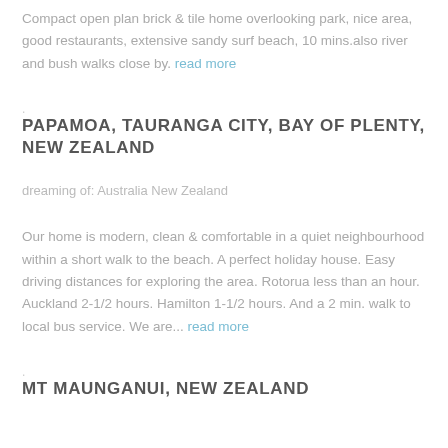Compact open plan brick & tile home overlooking park, nice area, good restaurants, extensive sandy surf beach, 10 mins.also river and bush walks close by. read more
.
PAPAMOA, TAURANGA CITY, BAY OF PLENTY, NEW ZEALAND
dreaming of: Australia New Zealand
Our home is modern, clean & comfortable in a quiet neighbourhood within a short walk to the beach. A perfect holiday house. Easy driving distances for exploring the area. Rotorua less than an hour. Auckland 2-1/2 hours. Hamilton 1-1/2 hours. And a 2 min. walk to local bus service. We are... read more
.
MT MAUNGANUI, NEW ZEALAND